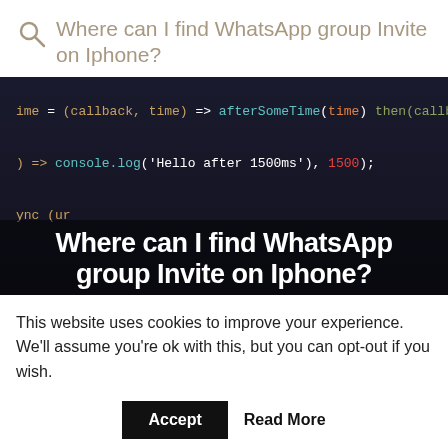Where can I find WhatsApp group Invite on Iphone?
[Figure (screenshot): Dark code editor screenshot showing JavaScript code with arrow functions and console.log, with a bold white text overlay reading 'Where can I find WhatsApp group Invite on Iphone?']
This website uses cookies to improve your experience. We'll assume you're ok with this, but you can opt-out if you wish.
Accept  Read More